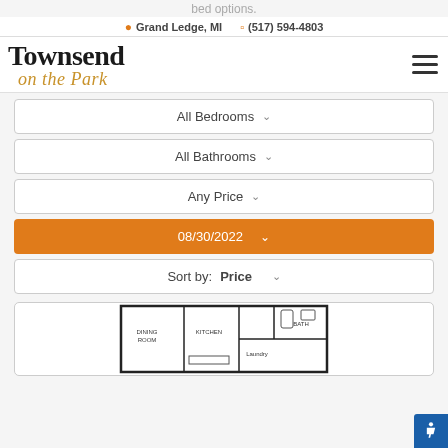bed options
Grand Ledge, MI   (517) 594-4803
[Figure (logo): Townsend on the Park logo with serif font for 'Townsend' and cursive gold font for 'on the Park']
All Bedrooms
All Bathrooms
Any Price
08/30/2022
Sort by: Price
[Figure (schematic): Floor plan schematic showing dining room, kitchen, bath, and laundry areas]